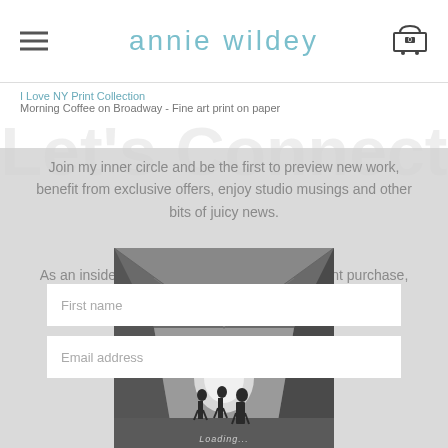annie wildey
I Love NY Print Collection
Morning Coffee on Broadway - Fine art print on paper
Let's Connect
Join my inner circle and be the first to preview new work, benefit from exclusive offers, enjoy studio musings and other bits of juicy news.
As an insider, you also get 10% off your first print purchase,
Thrilled to have on board!
[Figure (photo): Black and white photograph of a tunnel/corridor with silhouettes of people walking through it, dramatic light at the far end]
First name
Email address
Loading...